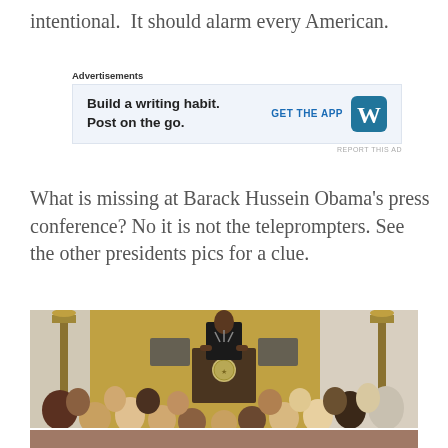intentional.  It should alarm every American.
[Figure (other): Advertisement banner: 'Build a writing habit. Post on the go.' with WordPress logo and 'GET THE APP' call to action]
What is missing at Barack Hussein Obama's press conference? No it is not the teleprompters. See the other presidents pics for a clue.
[Figure (photo): Photo of Barack Obama speaking at a podium with the presidential seal at a White House press conference, with audience members seated in the foreground and gold curtains in the background.]
BARACK HUSSEIN OBAMA